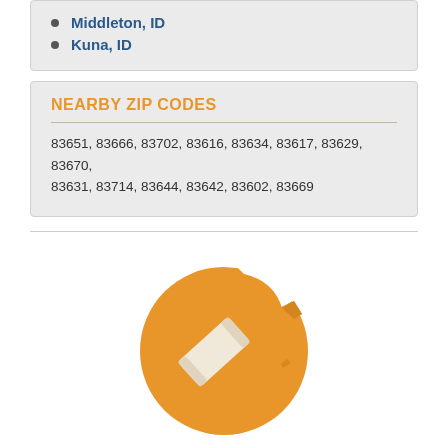Middleton, ID
Kuna, ID
NEARBY ZIP CODES
83651, 83666, 83702, 83616, 83634, 83617, 83629, 83670, 83631, 83714, 83644, 83642, 83602, 83669
[Figure (logo): Orange circular logo with a paint roller icon — a paint roller with a handle on an orange circle background]